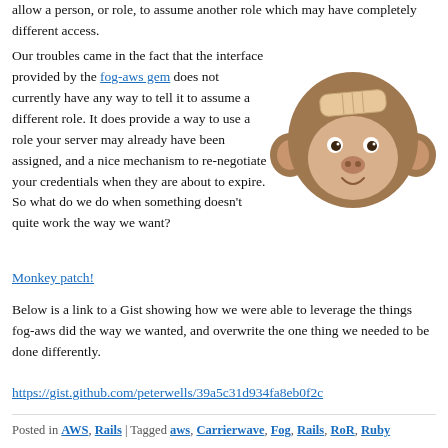allow a person, or role, to assume another role which may have completely different access.
Our troubles came in the fact that the interface provided by the fog-aws gem does not currently have any way to tell it to assume a different role. It does provide a way to use a role your server may already have been assigned, and a nice mechanism to re-negotiate your credentials when they are about to expire. So what do we do when something doesn't quite work the way we want?
[Figure (illustration): Cartoon monkey face with a bandage on its forehead, smiling, in brown tones]
Monkey patch!
Below is a link to a Gist showing how we were able to leverage the things fog-aws did the way we wanted, and overwrite the one thing we needed to be done differently.
https://gist.github.com/peterwells/39a5c31d934fa8eb0f2c
Posted in AWS, Rails | Tagged aws, Carrierwave, Fog, Rails, RoR, Ruby